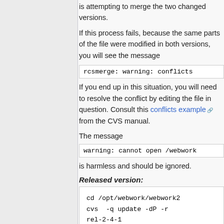is attempting to merge the two changed versions.
If this process fails, because the same parts of the file were modified in both versions, you will see the message
rcsmerge: warning: conflicts
If you end up in this situation, you will need to resolve the conflict by editing the file in question. Consult this conflicts example from the CVS manual.
The message
warning: cannot open /webwork
is harmless and should be ignored.
Released version:
cd /opt/webwork/webwork2
cvs  -q update -dP -r
rel-2-4-1
cd /opt/webwork/pg
cvs  -q update -dP -r